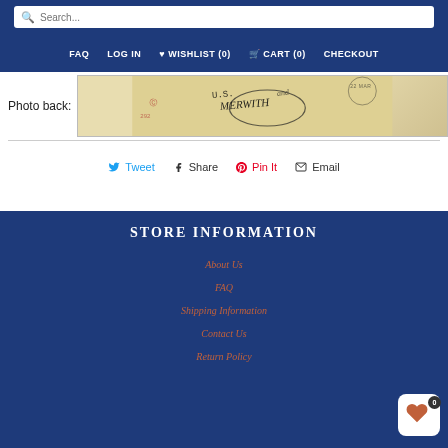Search... | FAQ | LOG IN | WISHLIST (0) | CART (0) | CHECKOUT
[Figure (photo): Photo back: Aged yellowed photograph back with handwritten text and stamps, showing cursive writing including what appears to be 'MERWITH' or similar, with circular postal stamp marks]
Photo back:
Tweet  Share  Pin It  Email
STORE INFORMATION
About Us
FAQ
Shipping Information
Contact Us
Return Policy